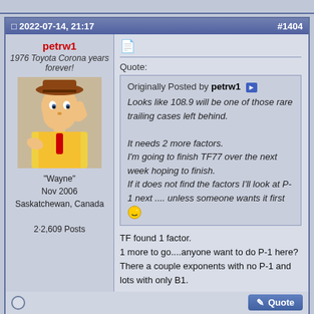2022-07-14, 21:17  #1404
petrw1
1976 Toyota Corona years forever!
[Figure (photo): Avatar image of Woody from Toy Story]
"Wayne"
Nov 2006
Saskatchewan, Canada
2·2,609 Posts
Quote:
Originally Posted by petrw1
Looks like 108.9 will be one of those rare trailing cases left behind.

It needs 2 more factors.
I'm going to finish TF77 over the next week hoping to finish.
If it does not find the factors I'll look at P-1 next .... unless someone wants it first 😐
TF found 1 factor.
1 more to go....anyone want to do P-1 here?
There a couple exponents with no P-1 and lots with only B1.
2022-07-14, 23:53  #1405